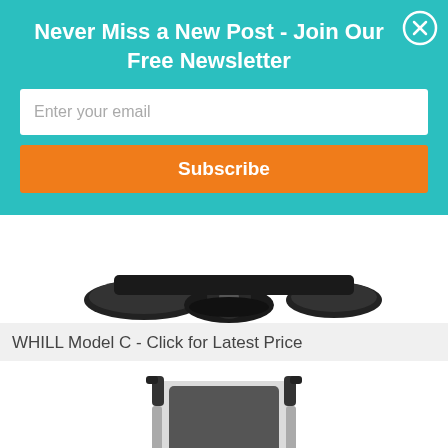Never Miss a New Post - Join Our Free Newsletter
Enter your email
Subscribe
[Figure (photo): Bottom view of WHILL Model C electric wheelchair showing black wheels and brushes on white background]
WHILL Model C - Click for Latest Price
[Figure (photo): Front/side view of a black transport wheelchair with silver frame, armrests, and footrests on white background]